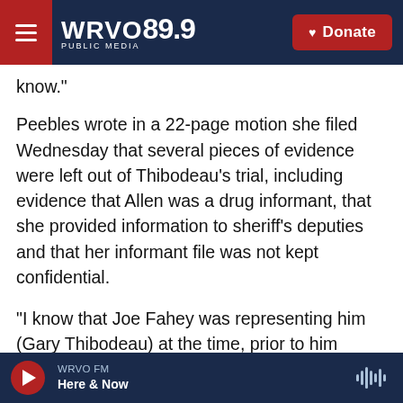WRVO PUBLIC MEDIA 89.9 | Donate
know."
Peebles wrote in a 22-page motion she filed Wednesday that several pieces of evidence were left out of Thibodeau's trial, including evidence that Allen was a drug informant, that she provided information to sheriff's deputies and that her informant file was not kept confidential.
"I know that Joe Fahey was representing him (Gary Thibodeau) at the time, prior to him becoming a judge," Peebles explained. "And he had never seen or heard about this information about Heidi Allen
WRVO FM | Here & Now